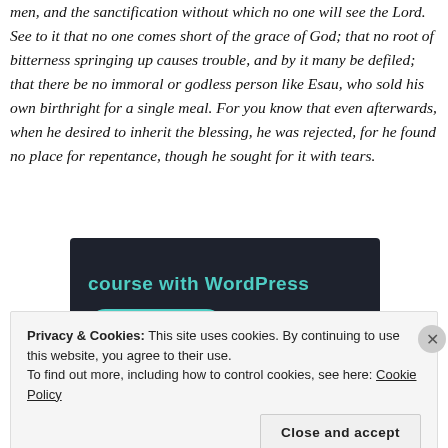men, and the sanctification without which no one will see the Lord. See to it that no one comes short of the grace of God; that no root of bitterness springing up causes trouble, and by it many be defiled; that there be no immoral or godless person like Esau, who sold his own birthright for a single meal. For you know that even afterwards, when he desired to inherit the blessing, he was rejected, for he found no place for repentance, though he sought for it with tears.
[Figure (screenshot): Dark-themed advertisement banner with teal text 'course with WordPress' and a teal 'Learn More' pill button on a dark navy background.]
Privacy & Cookies: This site uses cookies. By continuing to use this website, you agree to their use.
To find out more, including how to control cookies, see here: Cookie Policy